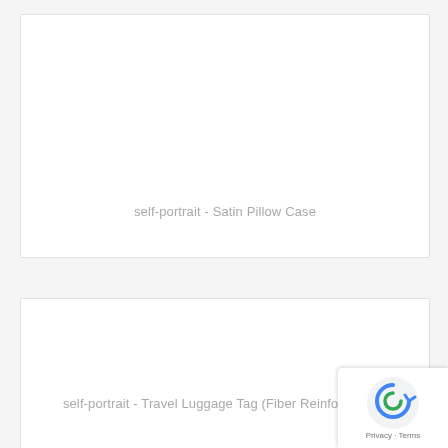[Figure (photo): Product card with white background showing placeholder image area for self-portrait Satin Pillow Case]
self-portrait - Satin Pillow Case
[Figure (photo): Product card with white background showing placeholder image area for self-portrait Travel Luggage Tag (Fiber Reinforced Pla...)]
self-portrait - Travel Luggage Tag (Fiber Reinforced Pla